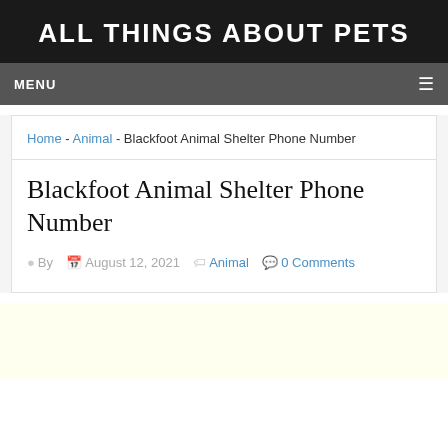ALL THINGS ABOUT PETS
MENU
Home - Animal - Blackfoot Animal Shelter Phone Number
Blackfoot Animal Shelter Phone Number
By  August 12, 2021  Animal  0 Comments